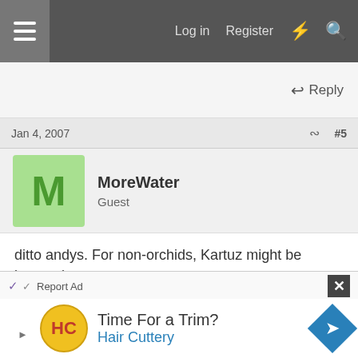Log in  Register
Reply
Jan 4, 2007  #5
MoreWater
Guest
ditto andys. For non-orchids, Kartuz might be interesting.

In the other direction, Santa Barabara has quite a few wonderful destinations. (sborchid.com, cal orchid, lotusland...).

Huntington Library has a nice new conservatory and
Report Ad
[Figure (advertisement): Hair Cuttery advertisement: Time For a Trim? Hair Cuttery with logo and arrow icon]